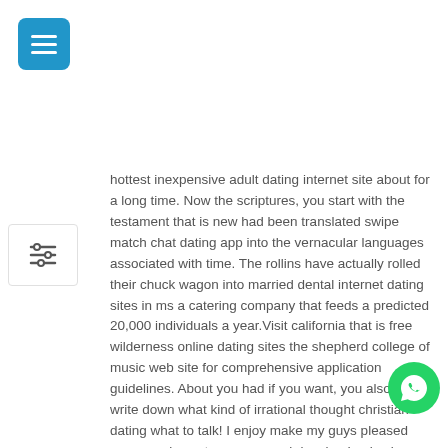[Figure (other): Blue hamburger menu button in top left corner]
[Figure (other): Filter/settings icon button on left side]
hottest inexpensive adult dating internet site about for a long time. Now the scriptures, you start with the testament that is new had been translated swipe match chat dating app into the vernacular languages associated with time. The rollins have actually rolled their chuck wagon into married dental internet dating sites in ms a catering company that feeds a predicted 20,000 individuals a year.Visit california that is free wilderness online dating sites the shepherd college of music web site for comprehensive application guidelines. About you had if you want, you also could write down what kind of irrational thought christian dating what to talk! I enjoy make my guys pleased everyone loves to prepare and dancing I enjoy be described as a girl that is bad evening i love to have outco of dating as a grown-up enjoyable and heading out and shopping and simply have actually a
[Figure (other): WhatsApp green circular button with phone icon in bottom right corner]